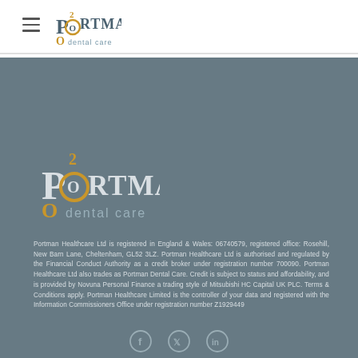Portman Dental Care logo and navigation menu
[Figure (logo): Portman Dental Care logo in footer section with '200' mark and 'dental care' text]
Portman Healthcare Ltd is registered in England & Wales: 06740579, registered office: Rosehill, New Barn Lane, Cheltenham, GL52 3LZ. Portman Healthcare Ltd is authorised and regulated by the Financial Conduct Authority as a credit broker under registration number 700090. Portman Healthcare Ltd also trades as Portman Dental Care. Credit is subject to status and affordability, and is provided by Novuna Personal Finance a trading style of Mitsubishi HC Capital UK PLC. Terms & Conditions apply. Portman Healthcare Limited is the controller of your data and registered with the Information Commissioners Office under registration number Z1929449
[Figure (illustration): Social media icons: Facebook, Twitter/X, LinkedIn - circular outlined icons at bottom of footer]